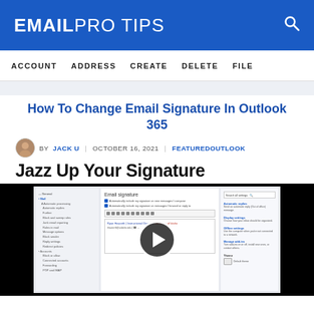EMAIL PRO TIPS
ACCOUNT   ADDRESS   CREATE   DELETE   FILE
How To Change Email Signature In Outlook 365
BY JACK U   OCTOBER 16, 2021   FEATUREDOUTLOOK
Jazz Up Your Signature
[Figure (screenshot): Screenshot of Outlook 365 email signature settings interface showing left navigation panel, email signature editor with toolbar and sample signature, and right panel with settings options. A video play button overlay is shown in the center.]